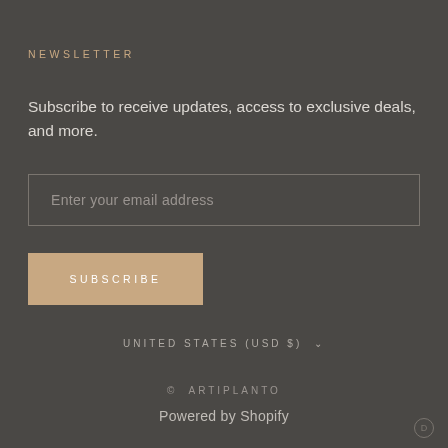NEWSLETTER
Subscribe to receive updates, access to exclusive deals, and more.
Enter your email address
SUBSCRIBE
UNITED STATES (USD $)
© ARTIPLANTO
Powered by Shopify